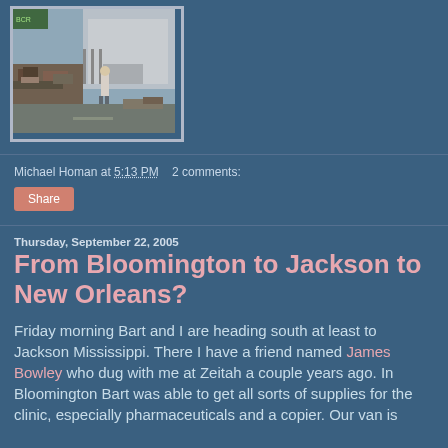[Figure (photo): Person standing in front of debris/trash piled on a street in front of a house, post-hurricane scene]
Michael Homan at 5:13 PM   2 comments:
Share
Thursday, September 22, 2005
From Bloomington to Jackson to New Orleans?
Friday morning Bart and I are heading south at least to Jackson Mississippi. There I have a friend named James Bowley who dug with me at Zeitah a couple years ago. In Bloomington Bart was able to get all sorts of supplies for the clinic, especially pharmaceuticals and a copier. Our van is